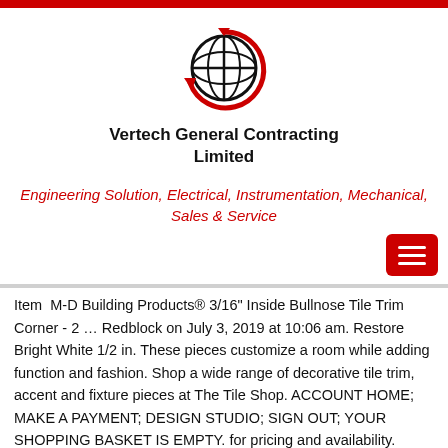[Figure (logo): Vertech General Contracting Limited globe logo with red circular arrows]
Vertech General Contracting Limited
Engineering Solution, Electrical, Instrumentation, Mechanical, Sales & Service
[Figure (other): Red hamburger menu button]
Item  M-D Building Products® 3/16" Inside Bullnose Tile Trim Corner - 2 … Redblock on July 3, 2019 at 10:06 am. Restore Bright White 1/2 in. These pieces customize a room while adding function and fashion. Shop a wide range of decorative tile trim, accent and fixture pieces at The Tile Shop. ACCOUNT HOME; MAKE A PAYMENT; DESIGN STUDIO; SIGN OUT; YOUR SHOPPING BASKET IS EMPTY. for pricing and availability. Square Tile Trim 1/2 x 12 inch Flat Pencil Decorative Shower Ceramic Tile Edge Backsplash Liner Wal… GOLEM Kunst und